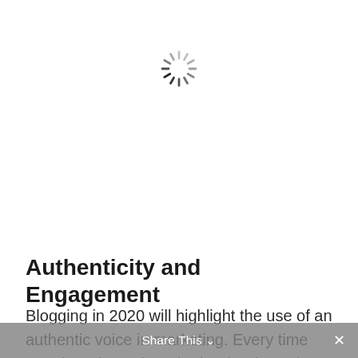[Figure (other): A loading spinner icon (circular dashed spokes arranged in a radial pattern, darker at bottom-left, lighter at top)]
Authenticity and Engagement
Blogging in 2020 will highlight the use of an authentic voice in marketing. Every time your brand speaks, whether it's through website copy, social media, or advertising scripts, the voice should be
Share This ∨  ×